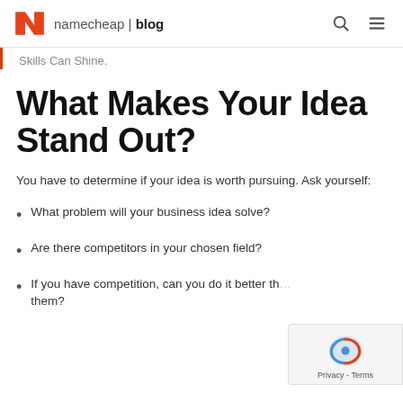namecheap | blog
Skills Can Shine.
What Makes Your Idea Stand Out?
You have to determine if your idea is worth pursuing. Ask yourself:
What problem will your business idea solve?
Are there competitors in your chosen field?
If you have competition, can you do it better than them?